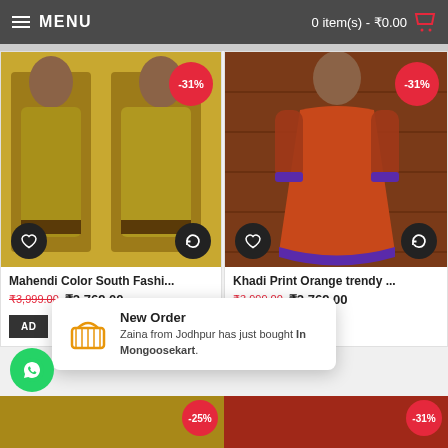MENU   0 item(s) - ₹0.00
[Figure (photo): Mahendi Color South Fashion dress product photo - yellow/green long dress worn by model]
Mahendi Color South Fashi...
₹3,999.00  ₹2,769.00
[Figure (photo): Khadi Print Orange trendy dress product photo - orange long dress with purple border worn by model]
Khadi Print Orange trendy ...
₹3,999.00  ₹2,769.00
New Order
Zaina from Jodhpur has just bought In Mongoosekart.